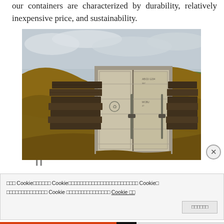our containers are characterized by durability, relatively inexpensive price, and sustainability.
[Figure (photo): A shipping container partially buried in a hillside/earthen mound, with stacked wooden railroad ties or beams on its sides. The container has double doors visible at the front. Overcast sky in background with a green hill visible on the right.]
Cookie notice banner with corrupted/garbled text (appears to be non-Latin characters mixed with 'Cookie' references) and a Cookie preferences link, along with an accept/confirm button.